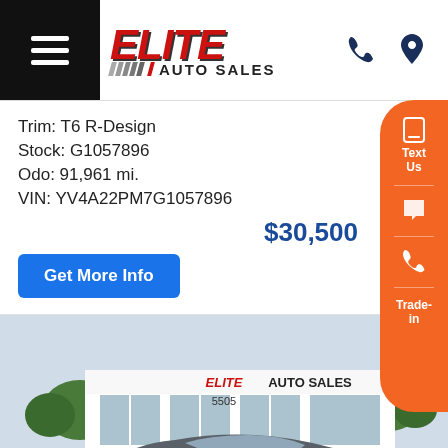[Figure (logo): Elite Auto Sales logo with red italic ELITE text, striped divider, and AUTO SALES text]
Trim: T6 R-Design
Stock: G1057896
Odo: 91,961 mi.
VIN: YV4A22PM7G1057896
$30,500
Get More Info
[Figure (photo): Elite Auto Sales dealership building exterior with a gray Chevrolet Camaro parked in front. Signage reads ELITE AUTO SALES 5505.]